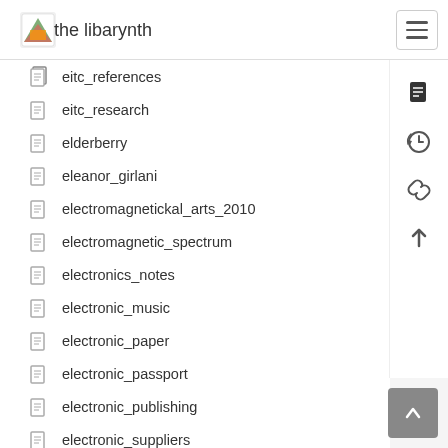the libarynth
eitc_references
eitc_research
elderberry
eleanor_girlani
electromagnetickal_arts_2010
electromagnetic_spectrum
electronics_notes
electronic_music
electronic_paper
electronic_passport
electronic_publishing
electronic_suppliers
electronic_voice_phenomena
elgaland_vargaland
elsevier_notes
el_cerebro_segun
emacs
emacs_and_email